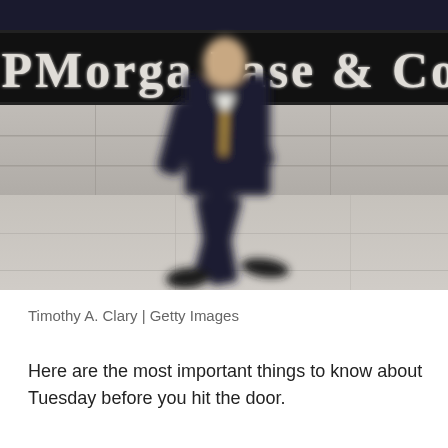[Figure (photo): A motion-blurred photograph of a businessman in a dark suit walking briskly past the JPMorgan Chase & Co. building exterior. The company signage is visible on a dark background at the top. The building has a stone facade. The man's movement creates blur in the image.]
Timothy A. Clary | Getty Images
Here are the most important things to know about Tuesday before you hit the door.